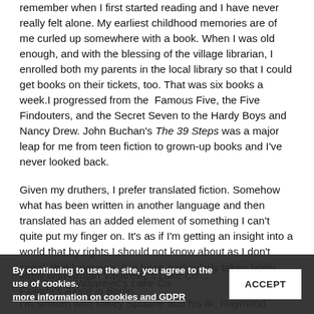remember when I first started reading and I have never really felt alone. My earliest childhood memories are of me curled up somewhere with a book. When I was old enough, and with the blessing of the village librarian, I enrolled both my parents in the local library so that I could get books on their tickets, too. That was six books a week.I progressed from the Famous Five, the Five Findouters, and the Secret Seven to the Hardy Boys and Nancy Drew. John Buchan's The 39 Steps was a major leap for me from teen fiction to grown-up books and I've never looked back.
Given my druthers, I prefer translated fiction. Somehow what has been written in another language and then translated has an added element of something I can't quite put my finger on. It's as if I'm getting an insight into a world that by rights I should not know about as I don't speak that language. I've been particularly taken lately with Srdjan Valjarevic's Lake Como and Hans Fallada's Alone in Berlin.
I'm smitten with Mikey Spillane and his ilk, Raymond
By continuing to use the site, you agree to the use of cookies. more information on cookies and GDPR